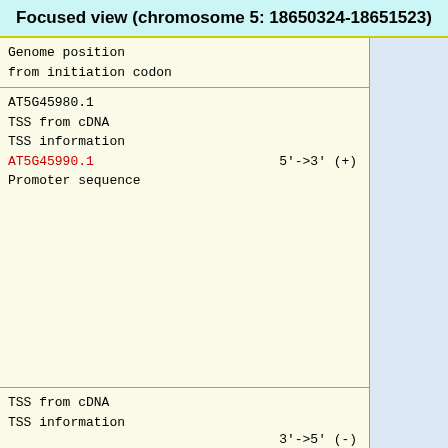Focused view (chromosome 5: 18650324-18651523)
| Genome position
from initiation codon |  |
| AT5G45980.1
TSS from cDNA
TSS information
AT5G45990.1
Promoter sequence | 5'->3' (+) |
| TSS from cDNA
TSS information
Promoter sequence | 3'->5' (-) |
| TSS tag distribution(+) |  |